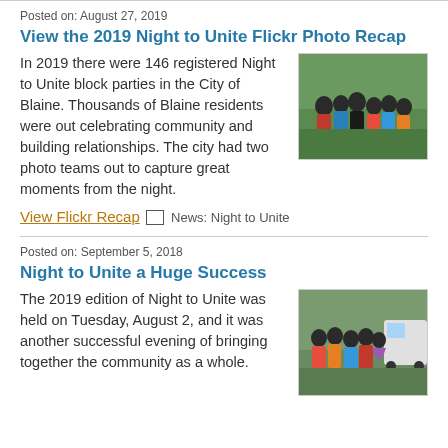Posted on: August 27, 2019
View the 2019 Night to Unite Flickr Photo Recap
In 2019 there were 146 registered Night to Unite block parties in the City of Blaine. Thousands of Blaine residents were out celebrating community and building relationships. The city had two photo teams out to capture great moments from the night.
[Figure (photo): Group photo of children and a police officer at a Night to Unite block party]
View Flickr Recap  News: Night to Unite
Posted on: September 5, 2018
Night to Unite a Huge Success
The 2019 edition of Night to Unite was held on Tuesday, August 2, and it was another successful evening of bringing together the community as a whole.
[Figure (photo): Group photo of children and adults at a Night to Unite community event]